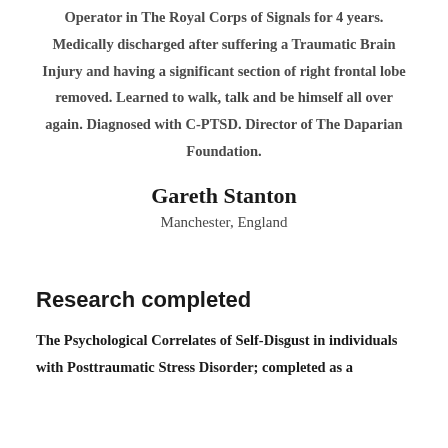Operator in The Royal Corps of Signals for 4 years. Medically discharged after suffering a Traumatic Brain Injury and having a significant section of right frontal lobe removed. Learned to walk, talk and be himself all over again. Diagnosed with C-PTSD. Director of The Daparian Foundation.
Gareth Stanton
Manchester, England
Research completed
The Psychological Correlates of Self-Disgust in individuals with Posttraumatic Stress Disorder; completed as a